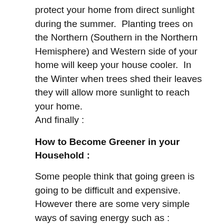protect your home from direct sunlight during the summer.  Planting trees on the Northern (Southern in the Northern Hemisphere) and Western side of your home will keep your house cooler.  In the Winter when trees shed their leaves they will allow more sunlight to reach your home.
And finally :
How to Become Greener in your Household :
Some people think that going green is going to be difficult and expensive.  However there are some very simple ways of saving energy such as :
Turn off any lights and appliances when you don't use them.
Remember to unplug appliances or switch them off at the wall.  Leaving appliances such as TVs and